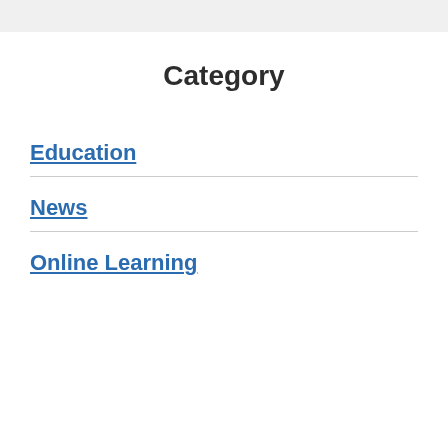Category
Education
News
Online Learning